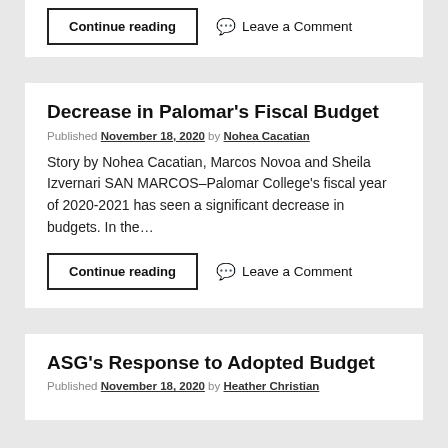Continue reading   Leave a Comment
Decrease in Palomar's Fiscal Budget
Published November 18, 2020 by Nohea Cacatian
Story by Nohea Cacatian, Marcos Novoa and Sheila Izvernari SAN MARCOS–Palomar College's fiscal year of 2020-2021 has seen a significant decrease in budgets. In the…
Continue reading   Leave a Comment
ASG's Response to Adopted Budget
Published November 18, 2020 by Heather Christian